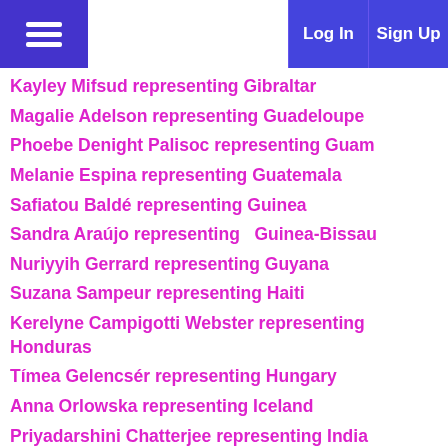Log In | Sign Up
Kayley Mifsud representing Gibraltar
Magalie Adelson representing Guadeloupe
Phoebe Denight Palisoc representing Guam
Melanie Espina representing Guatemala
Safiatou Baldé representing Guinea
Sandra Araújo representing  Guinea-Bissau
Nuriyyih Gerrard representing Guyana
Suzana Sampeur representing Haiti
Kerelyne Campigotti Webster representing Honduras
Tímea Gelencsér representing Hungary
Anna Orlowska representing Iceland
Priyadarshini Chatterjee representing India
Natasha Mannuela Halim representing Indonesia
Niamh Kennedy representing Ireland